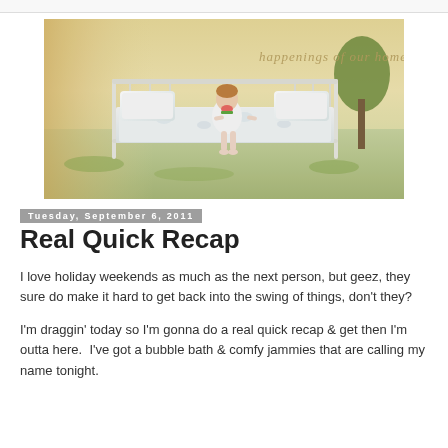[Figure (photo): Blog header photo showing a toddler sitting on a white iron bed with white bedding, placed outdoors in a golden field. The child is eating a slice of watermelon and wearing a white dress. Text overlay reads 'happenings of our home' in a cursive/script style.]
Tuesday, September 6, 2011
Real Quick Recap
I love holiday weekends as much as the next person, but geez, they sure do make it hard to get back into the swing of things, don't they?
I'm draggin' today so I'm gonna do a real quick recap & get then I'm outta here.  I've got a bubble bath & comfy jammies that are calling my name tonight.